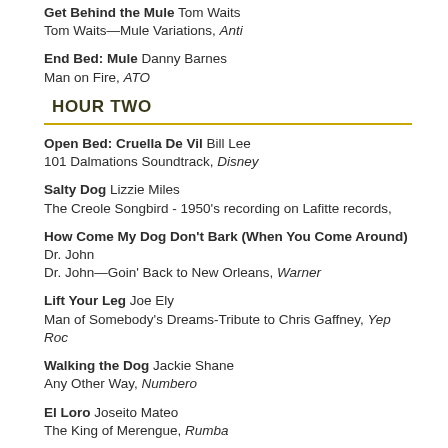Get Behind the Mule Tom Waits
Tom Waits—Mule Variations, Anti
End Bed: Mule Danny Barnes
Man on Fire, ATO
HOUR TWO
Open Bed: Cruella De Vil Bill Lee
101 Dalmations Soundtrack, Disney
Salty Dog Lizzie Miles
The Creole Songbird - 1950's recording on Lafitte records,
How Come My Dog Don't Bark (When You Come Around) Dr. John
Dr. John—Goin' Back to New Orleans, Warner
Lift Your Leg Joe Ely
Man of Somebody's Dreams-Tribute to Chris Gaffney, Yep Roc
Walking the Dog Jackie Shane
Any Other Way, Numbero
El Loro Joseito Mateo
The King of Merengue, Rumba